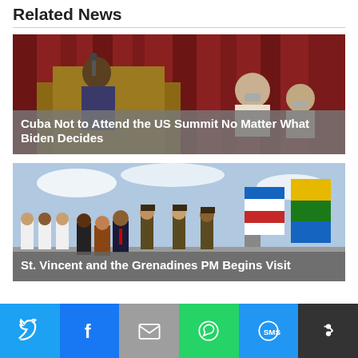Related News
[Figure (photo): Man speaking at a podium in front of a red curtain, other officials seated behind him wearing masks.]
Cuba Not to Attend the US Summit No Matter What Biden Decides
[Figure (photo): Group of people in formal and military attire standing on a tarmac with Cuban and other Caribbean flags.]
St. Vincent and the Grenadines PM Begins Visit